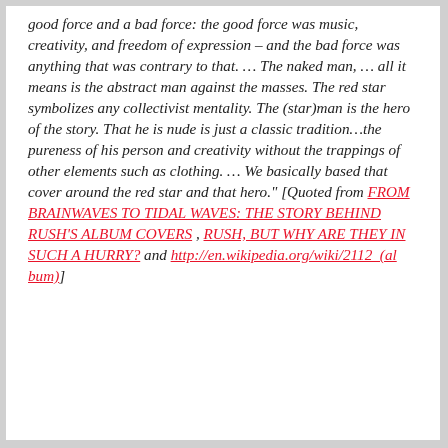good force and a bad force: the good force was music, creativity, and freedom of expression – and the bad force was anything that was contrary to that. … The naked man, … all it means is the abstract man against the masses. The red star symbolizes any collectivist mentality. The (star)man is the hero of the story. That he is nude is just a classic tradition…the pureness of his person and creativity without the trappings of other elements such as clothing. … We basically based that cover around the red star and that hero." [Quoted from FROM BRAINWAVES TO TIDAL WAVES: THE STORY BEHIND RUSH'S ALBUM COVERS , RUSH, BUT WHY ARE THEY IN SUCH A HURRY? and http://en.wikipedia.org/wiki/2112_(album)]